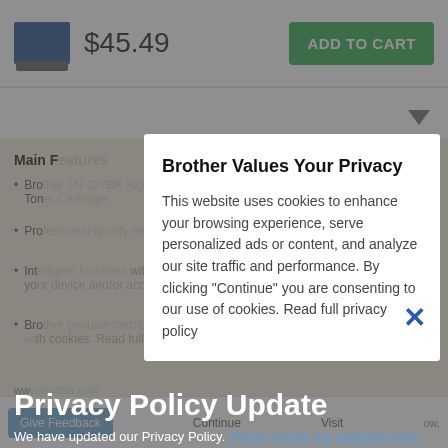$45.49   ADD TO CART
Main Features
Brother Values Your Privacy
This website uses cookies to enhance your browsing experience, serve personalized ads or content, and analyze our site traffic and performance. By clicking "Continue" you are consenting to our use of cookies. Read full privacy policy
Privacy Policy Update
We have updated our Privacy Policy. Please review the updated policy before proceeding to other sections of our website. Your continued use of the Site and Services constitutes your agreement to and acceptance of our Privacy Policy where permitted by law.
Give Feedback   Continue   Visit www...   ow,